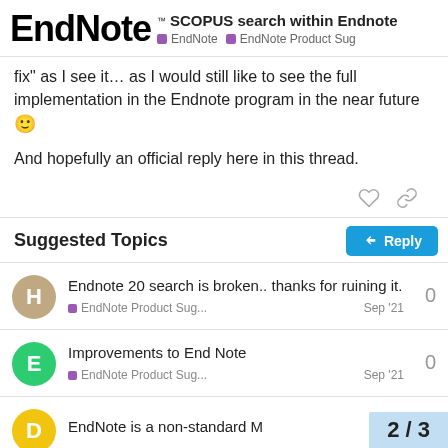EndNote ™ SCOPUS search within Endnote | EndNote | EndNote Product Sug
fix" as I see it… as I would still like to see the full implementation in the Endnote program in the near future 🙂
And hopefully an official reply here in this thread.
Suggested Topics
Endnote 20 search is broken.. thanks for ruining it. | EndNote Product Sug... | Sep '21 | 0
Improvements to End Note | EndNote Product Sug... | Sep '21 | 0
EndNote is a non-standard M...
2 / 3